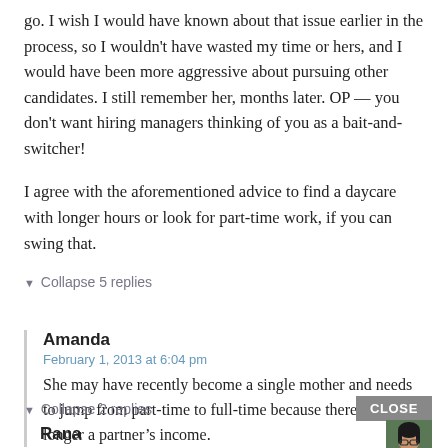go. I wish I would have known about that issue earlier in the process, so I wouldn't have wasted my time or hers, and I would have been more aggressive about pursuing other candidates. I still remember her, months later. OP — you don't want hiring managers thinking of you as a bait-and-switcher!
I agree with the aforementioned advice to find a daycare with longer hours or look for part-time work, if you can swing that.
▼ Collapse 5 replies
Amanda
February 1, 2013 at 6:04 pm
She may have recently become a single mother and needs to jump from part-time to full-time because there's no longer a partner's income.
▼ Collapse 2 replies
CLOSE
Rana
[Figure (photo): Small avatar photo of a person with dark hair and glasses, green background]